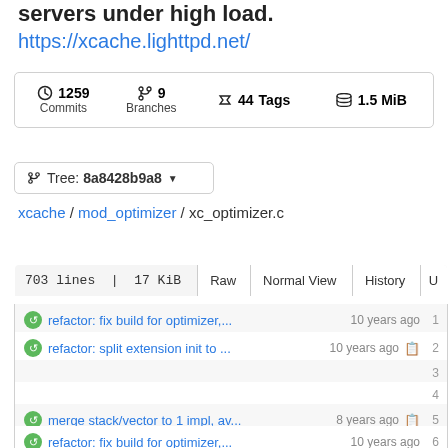servers under high load.
https://xcache.lighttpd.net/
| Commits | Branches | Tags | Size |
| --- | --- | --- | --- |
| 1259 | 9 | 44 | 1.5 MiB |
Tree: 8a8428b9a8
xcache / mod_optimizer / xc_optimizer.c
| lines | size | Raw | Normal View | History |
| --- | --- | --- | --- | --- |
| 703 lines | 17 KiB | Raw | Normal View | History |
refactor: fix build for optimizer,... 10 years ago 1
refactor: split extension init to ... 10 years ago 2
3
4
merge stack/vector to 1 impl, av...8 years ago 5
refactor: fix build for optimizer,...10 years ago 6
opcodes data is copied but not... 15 years ago 7
basic works on optimizer.git-sv... 16 years ago 8